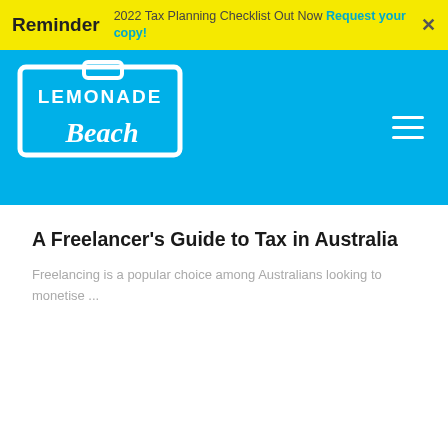Reminder — 2022 Tax Planning Checklist Out Now Request your copy!
[Figure (logo): Lemonade Beach logo — white text on blue background with decorative script]
A Freelancer's Guide to Tax in Australia
Freelancing is a popular choice among Australians looking to monetise ...